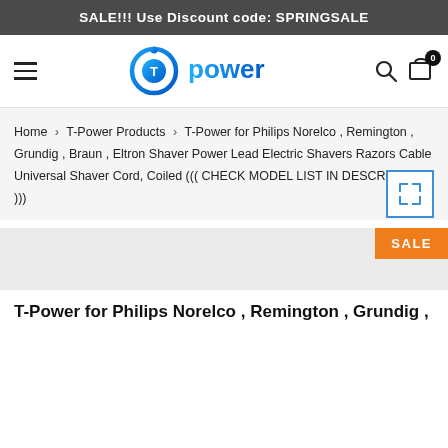SALE!!! Use Discount code: SPRINGSALE
[Figure (logo): T-Power logo with hamburger menu, search icon, and cart icon with badge showing 0]
Home > T-Power Products > T-Power for Philips Norelco , Remington , Grundig , Braun , Eltron Shaver Power Lead Electric Shavers Razors Cable Universal Shaver Cord, Coiled ((( CHECK MODEL LIST IN DESCRIPTION )))
[Figure (other): Expand/fullscreen icon box with arrows pointing outward in blue]
[Figure (photo): Product image area placeholder with SALE badge in orange]
T-Power for Philips Norelco , Remington , Grundig ,